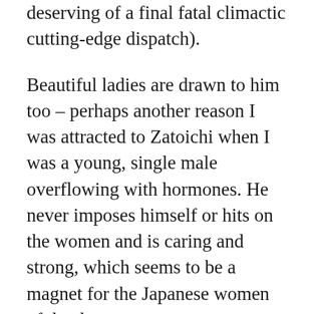deserving of a final fatal climactic cutting-edge dispatch).
Beautiful ladies are drawn to him too – perhaps another reason I was attracted to Zatoichi when I was a young, single male overflowing with hormones. He never imposes himself or hits on the women and is caring and strong, which seems to be a magnet for the Japanese women of the day.
There are a number of episodes where, like the Lone Ranger, after saving the lady in distress, he walks off alone into the sunset as the wandering vagabond — the only thing missing is someone saying, "Who was